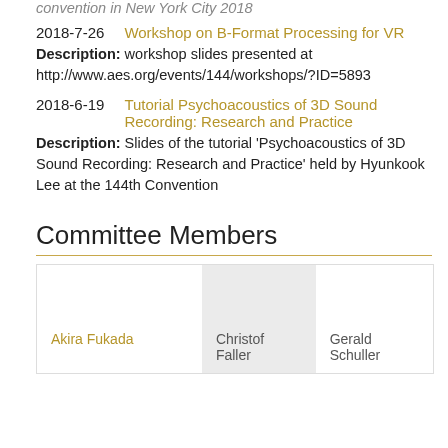convention in New York City 2018
2018-7-26  Workshop on B-Format Processing for VR
Description: workshop slides presented at http://www.aes.org/events/144/workshops/?ID=5893
2018-6-19  Tutorial Psychoacoustics of 3D Sound Recording: Research and Practice
Description: Slides of the tutorial 'Psychoacoustics of 3D Sound Recording: Research and Practice' held by Hyunkook Lee at the 144th Convention
Committee Members
| Akira Fukada | Christof Faller | Gerald Schuller |